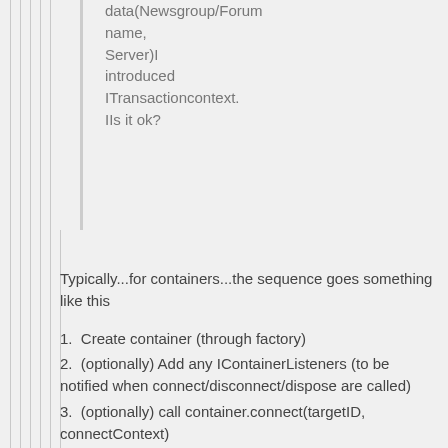data(Newsgroup/Forum name, Server)I introduced ITransactioncontext. IIs it ok?
Typically...for containers...the sequence goes something like this
1.  Create container (through factory)
2.  (optionally) Add any IContainerListeners (to be notified when connect/disconnect/dispose are called)
3.  (optionally) call container.connect(targetID, connectContext)
4.  Call getAdapter(adapterclass) with the adapter class of interest
5.  Check the resulting adapter for null and